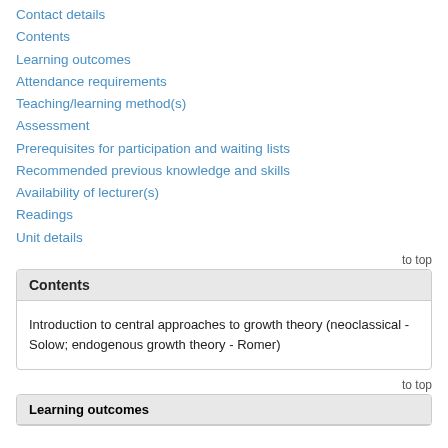Contact details
Contents
Learning outcomes
Attendance requirements
Teaching/learning method(s)
Assessment
Prerequisites for participation and waiting lists
Recommended previous knowledge and skills
Availability of lecturer(s)
Readings
Unit details
to top
Contents
Introduction to central approaches to growth theory (neoclassical -Solow; endogenous growth theory - Romer)
to top
Learning outcomes